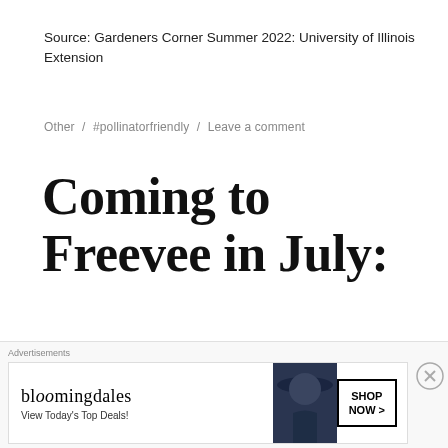Source: Gardeners Corner Summer 2022: University of Illinois Extension
Other / #pollinatorfriendly / Leave a comment
Coming to Freevee in July:
Here's the July Lineup
[Figure (other): Bloomingdales advertisement banner with model wearing wide-brim hat, text 'View Today's Top Deals!' and 'SHOP NOW >' button]